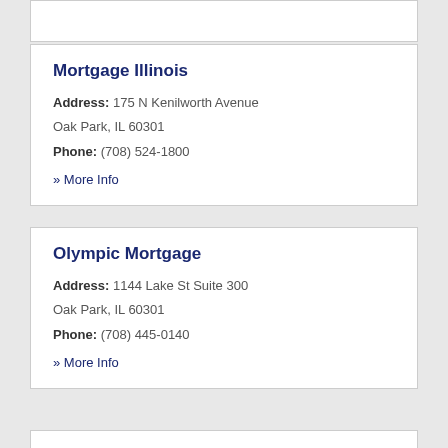Mortgage Illinois
Address: 175 N Kenilworth Avenue Oak Park, IL 60301
Phone: (708) 524-1800
» More Info
Olympic Mortgage
Address: 1144 Lake St Suite 300 Oak Park, IL 60301
Phone: (708) 445-0140
» More Info